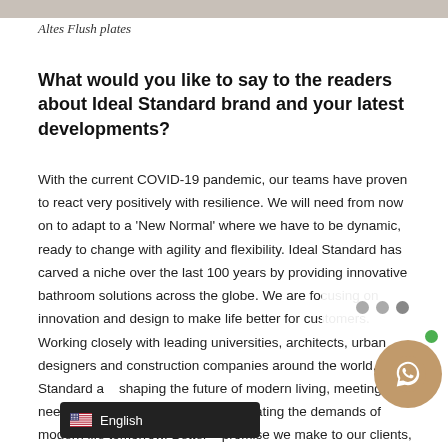[Figure (photo): Partial image strip at top of page, showing a dark/grey decorative product image (Altes Flush plates)]
Altes Flush plates
What would you like to say to the readers about Ideal Standard brand and your latest developments?
With the current COVID-19 pandemic, our teams have proven to react very positively with resilience. We will need from now on to adapt to a 'New Normal' where we have to be dynamic, ready to change with agility and flexibility. Ideal Standard has carved a niche over the last 100 years by providing innovative bathroom solutions across the globe. We are focusing on innovation and design to make life better for customers. Working closely with leading universities, architects, urban designers and construction companies around the world, Ideal Standard a... shaping the future of modern living, meeting the needs of customer today and anticipating the demands of modern life tomorrow. Better... promise we make to our clients, our trusted partners, and the m... people ...oducts every day. It's the promise we make to...